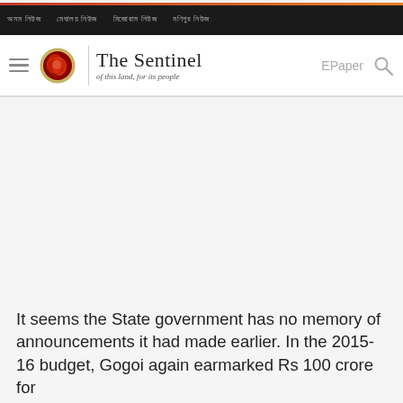The Sentinel - of this land, for its people
It seems the State government has no memory of announcements it had made earlier. In the 2015-16 budget, Gogoi again earmarked Rs 100 crore for